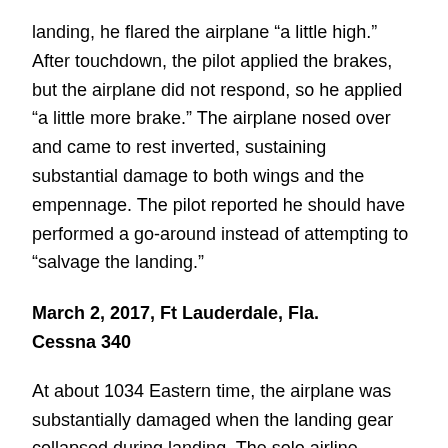landing, he flared the airplane “a little high.” After touchdown, the pilot applied the brakes, but the airplane did not respond, so he applied “a little more brake.” The airplane nosed over and came to rest inverted, sustaining substantial damage to both wings and the empennage. The pilot reported he should have performed a go-around instead of attempting to “salvage the landing.”
March 2, 2017, Ft Lauderdale, Fla.
Cessna 340
At about 1034 Eastern time, the airplane was substantially damaged when the landing gear collapsed during landing. The solo airline transport pilot was not injured. Visual conditions prevailed.
According to the pilot, on approach, he observed a “three-